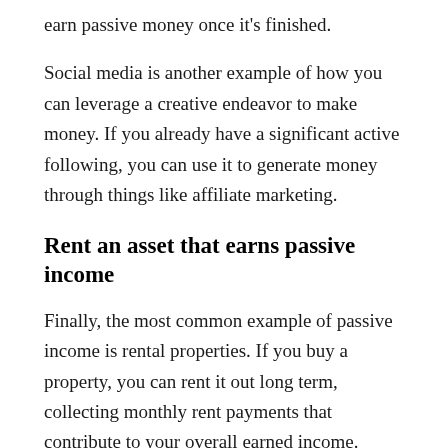earn passive money once it's finished.
Social media is another example of how you can leverage a creative endeavor to make money. If you already have a significant active following, you can use it to generate money through things like affiliate marketing.
Rent an asset that earns passive income
Finally, the most common example of passive income is rental properties. If you buy a property, you can rent it out long term, collecting monthly rent payments that contribute to your overall earned income. Alternatively, you can focus on short-term rentals, using platforms like Airbnb to find tenants.